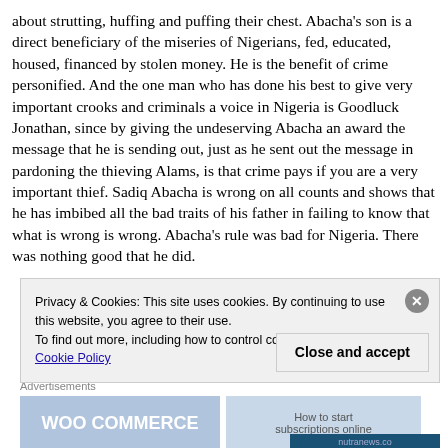about strutting, huffing and puffing their chest. Abacha's son is a direct beneficiary of the miseries of Nigerians, fed, educated, housed, financed by stolen money. He is the benefit of crime personified. And the one man who has done his best to give very important crooks and criminals a voice in Nigeria is Goodluck Jonathan, since by giving the undeserving Abacha an award the message that he is sending out, just as he sent out the message in pardoning the thieving Alams, is that crime pays if you are a very important thief. Sadiq Abacha is wrong on all counts and shows that he has imbibed all the bad traits of his father in failing to know that what is wrong is wrong. Abacha's rule was bad for Nigeria. There was nothing good that he did.
Privacy & Cookies: This site uses cookies. By continuing to use this website, you agree to their use.
To find out more, including how to control cookies, see here: Cookie Policy
[Figure (screenshot): WooCommerce advertisement banner and a 'How to start subscriptions online' ad]